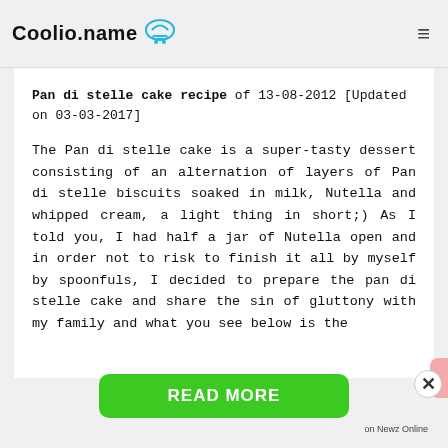Coolio.name
Pan di stelle cake recipe of 13-08-2012 [Updated on 03-03-2017]
The Pan di stelle cake is a super-tasty dessert consisting of an alternation of layers of Pan di stelle biscuits soaked in milk, Nutella and whipped cream, a light thing in short;) As I told you, I had half a jar of Nutella open and in order not to risk to finish it all by myself by spoonfuls, I decided to prepare the pan di stelle cake and share the sin of gluttony with my family and what you see below is the